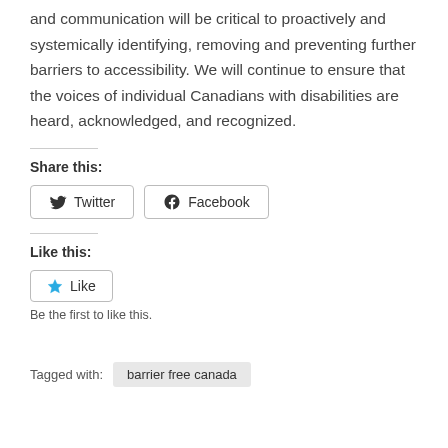and communication will be critical to proactively and systemically identifying, removing and preventing further barriers to accessibility. We will continue to ensure that the voices of individual Canadians with disabilities are heard, acknowledged, and recognized.
Share this:
[Figure (other): Twitter and Facebook share buttons]
Like this:
[Figure (other): Like button]
Be the first to like this.
Tagged with: barrier free canada